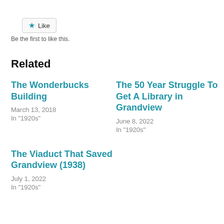[Figure (other): Like button with star icon and text 'Like']
Be the first to like this.
Related
The Wonderbucks Building
March 13, 2018
In "1920s"
The 50 Year Struggle To Get A Library in Grandview
June 8, 2022
In "1920s"
The Viaduct That Saved Grandview (1938)
July 1, 2022
In "1920s"